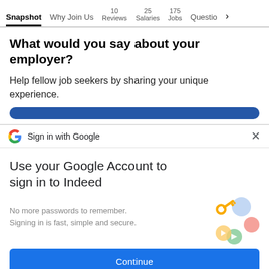Snapshot | Why Join Us | 10 Reviews | 25 Salaries | 175 Jobs | Questio >
What would you say about your employer?
Help fellow job seekers by sharing your unique experience.
Sign in with Google
Use your Google Account to sign in to Indeed
No more passwords to remember.
Signing in is fast, simple and secure.
Continue